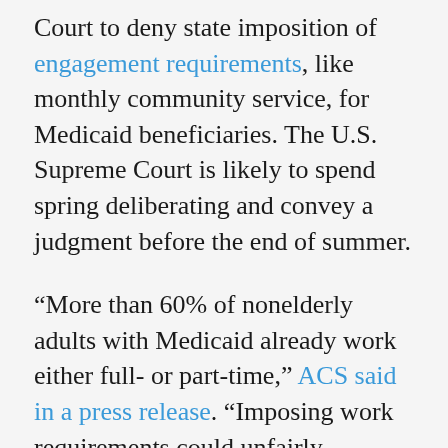Court to deny state imposition of engagement requirements, like monthly community service, for Medicaid beneficiaries. The U.S. Supreme Court is likely to spend spring deliberating and convey a judgment before the end of summer.
“More than 60% of nonelderly adults with Medicaid already work either full- or part-time,” ACS said in a press release. “Imposing work requirements could unfairly penalize those unable to work.”
The Obama administration consistently rejected states’ applications for waivers that would tie